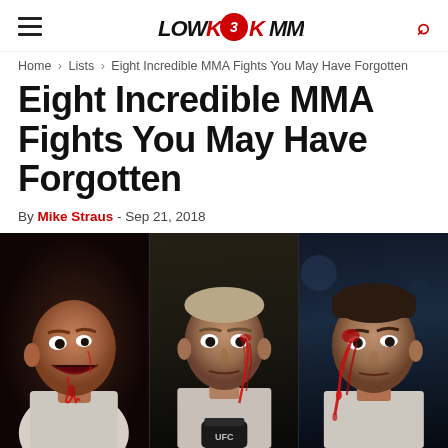LowKickMMA
Home › Lists › Eight Incredible MMA Fights You May Have Forgotten
Eight Incredible MMA Fights You May Have Forgotten
By Mike Straus - Sep 21, 2018
[Figure (photo): Three side-by-side photos of bloodied MMA fighters after intense bouts. Left: bald fighter yelling with blood on face. Center: blond/grey-haired fighter with blood streaming down face, wearing UFC gloves. Right: fighter with blood covering left side of face.]